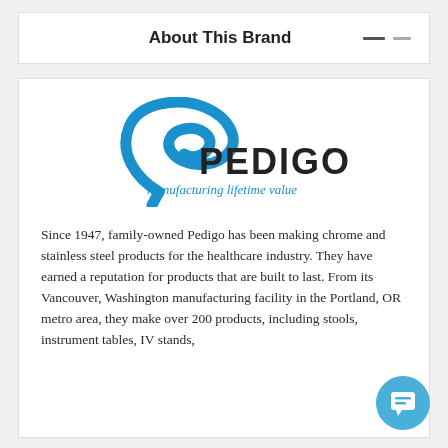About This Brand
[Figure (logo): Pedigo logo with blue swoosh P and text 'PEDIGO manufacturing lifetime value']
Since 1947, family-owned Pedigo has been making chrome and stainless steel products for the healthcare industry. They have earned a reputation for products that are built to last. From its Vancouver, Washington manufacturing facility in the Portland, OR metro area, they make over 200 products, including stools, instrument tables, IV stands,